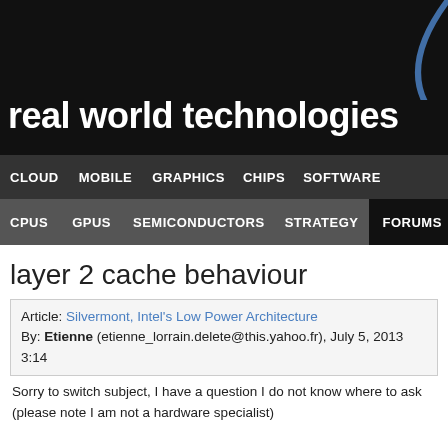real world technologies
CLOUD  MOBILE  GRAPHICS  CHIPS  SOFTWARE
CPUS  GPUS  SEMICONDUCTORS  STRATEGY  FORUMS
layer 2 cache behaviour
Article: Silvermont, Intel's Low Power Architecture
By: Etienne (etienne_lorrain.delete@this.yahoo.fr), July 5, 2013 3:14
Sorry to switch subject, I have a question I do not know where to ask (please note I am not a hardware specialist)

A processor with two layer cache writes a byte to zero, none of the m So the processor system looks for the address in layer 1 cache, do n in layer 2 cache, do not find it, instruct the layer 2 cache to fetch the r When the layer 1 cache line is filled, the instruction to clear the byte e If at that point both layer cache are no more needed and evicted, wha back to memory: a layer 1 cache line or a layer 2 cache line (which w In other words, is there "dirty bits" for every layer 1 cache line inside t